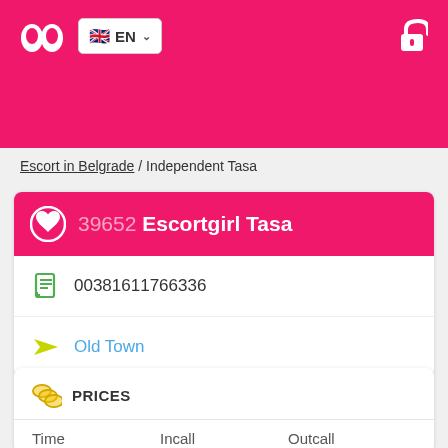EN
Escort in Belgrade / Independent Tasa
39652 Escortgirl Tasa
00381611766336
Old Town
PRICES
| Time | Incall | Outcall |
| --- | --- | --- |